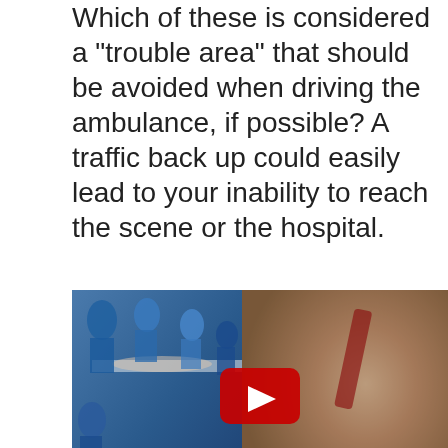Which of these is considered a "trouble area" that should be avoided when driving the ambulance, if possible? A traffic back up could easily lead to your inability to reach the scene or the hospital.
[Figure (photo): YouTube video thumbnail showing medical/trauma scene with a team of medical professionals treating a patient on a gurney (left side) and a close-up of a head wound with blood (right side). A red YouTube play button is centered. The word 'REALLY' in large bold yellow italic text appears at the bottom left.]
Which action would reduce the chance of being involved in an emergency